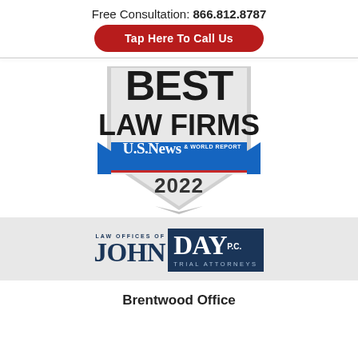Free Consultation: 866.812.8787
Tap Here To Call Us
[Figure (logo): US News & World Report Best Law Firms 2022 badge/shield logo, partially cropped at top, showing 'BEST LAW FIRMS' text and blue ribbon banner with 'U.S.News & WORLD REPORT' and '2022']
[Figure (logo): Law Offices of John Day P.C. Trial Attorneys logo on gray background. Left side: 'LAW OFFICES OF' small text above 'JOHN' in large dark blue serif font. Right side: dark navy box with 'DAY' in large white serif font and 'P.C.' superscript, 'TRIAL ATTORNEYS' in small spaced letters below.]
Brentwood Office